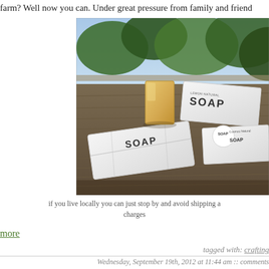farm? Well now you can. Under great pressure from family and friend
[Figure (photo): Several bars of soap wrapped in white paper labeled 'SOAP' arranged on a wooden deck surface, with one unwrapped yellow/cream colored soap bar standing upright. Green foliage visible in background.]
if you live locally you can just stop by and avoid shipping and charges
more
tagged with: crafting
Wednesday, September 19th, 2012 at 11:44 am :: comments